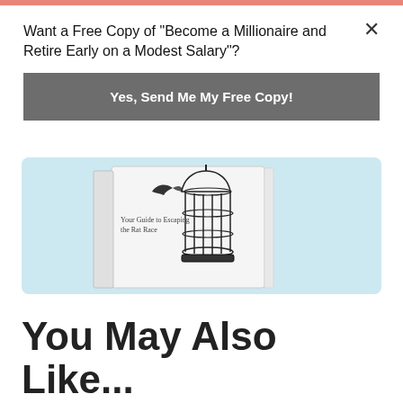Want a Free Copy of "Become a Millionaire and Retire Early on a Modest Salary"?
Yes, Send Me My Free Copy!
[Figure (photo): Book cover image on light blue background showing a white book with a bird and cage illustration titled 'Your Guide to Escaping the Rat Race']
You May Also Like...